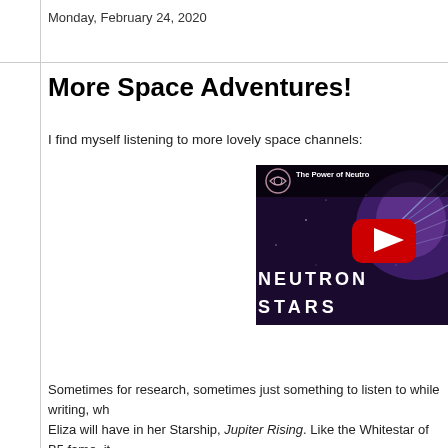Monday, February 24, 2020
More Space Adventures!
I find myself listening to more lovely space channels:
[Figure (screenshot): YouTube video thumbnail showing 'The Power of Neutron Stars' with space imagery, neutron star text, and YouTube play button on dark purple background]
Sometimes for research, sometimes just something to listen to while writing, wh... Eliza will have in her Starship, Jupiter Rising. Like the Whitestar of B5 fame, it...